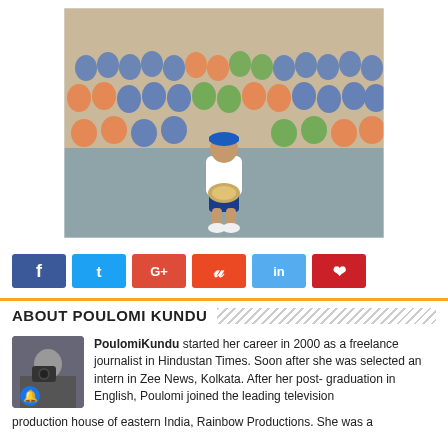[Figure (photo): A man in a white shirt and blue cap crouching and holding a trophy/plate, surrounded by many school children in colorful uniforms sitting on the floor in rows]
[Figure (infographic): Social sharing buttons: Facebook (blue), Twitter (light blue), Google+ (red), StumbleUpon (orange-red), LinkedIn (light blue), Pinterest (red)]
ABOUT POULOMI KUNDU
[Figure (photo): Small profile photo of a person with a camera, with a blue notification bell icon overlay]
PoulomiKundu started her career in 2000 as a freelance journalist in Hindustan Times. Soon after she was selected an intern in Zee News, Kolkata. After her post- graduation in English, Poulomi joined the leading television production house of eastern India, Rainbow Productions. She was a journalist in the Hotbar Bangaliana magazine serving as...